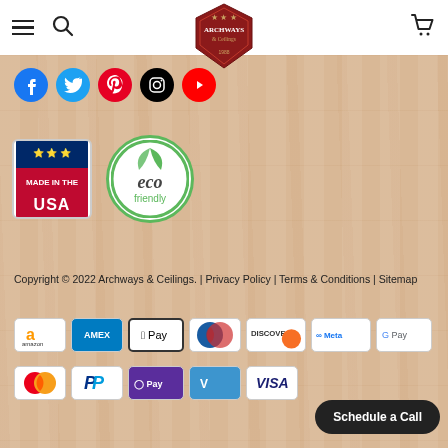Archways & Ceilings navigation bar with hamburger menu, search, logo, and cart
[Figure (logo): Archways & Ceilings hexagonal logo in dark red with star decorations]
[Figure (illustration): Social media icons row: Facebook (blue), Twitter (cyan), Pinterest (red), Instagram (black), YouTube (red)]
[Figure (illustration): Made in the USA badge (flag/stars, red/white/blue) and Eco Friendly circular green badge]
Copyright © 2022 Archways & Ceilings. | Privacy Policy | Terms & Conditions | Sitemap
[Figure (illustration): Payment method logos row 1: Amazon Pay, American Express, Apple Pay, Diners Club, Discover, Meta Pay, Google Pay]
[Figure (illustration): Payment method logos row 2: Mastercard, PayPal, Samsung Pay / OPay, Venmo, Visa]
Schedule a Call